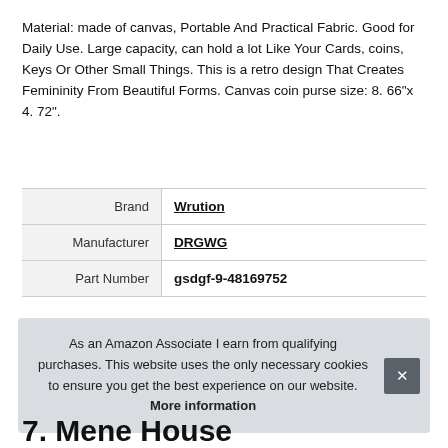Material: made of canvas, Portable And Practical Fabric. Good for Daily Use. Large capacity, can hold a lot Like Your Cards, coins, Keys Or Other Small Things. This is a retro design That Creates Femininity From Beautiful Forms. Canvas coin purse size: 8. 66"x 4. 72".
| Brand | Wrution |
| Manufacturer | DRGWG |
| Part Number | gsdgf-9-48169752 |
As an Amazon Associate I earn from qualifying purchases. This website uses the only necessary cookies to ensure you get the best experience on our website. More information
7. Mene House